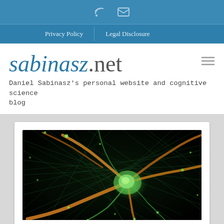RSS | Email icons in top bar
Privacy Policy | Legal Disclosure
sabinasz.net
Daniel Sabinasz's personal website and cognitive science blog
[Figure (photo): Fluorescence microscopy image of a neuron with green dendrites and orange/yellow axon against a dark background, showing neural branching patterns]